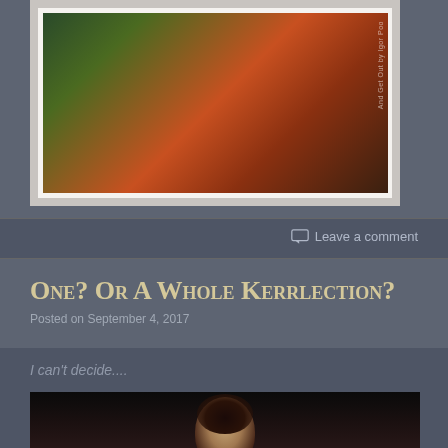[Figure (photo): Concert photo with green and orange/red lighting tones, performer at microphone, watermark text 'And Get Out by Igor Poo' on right side]
Leave a comment
One? Or A Whole Kerrlection?
Posted on September 4, 2017
I can't decide....
[Figure (photo): Dark portrait photo of a person with dark hair against black background]